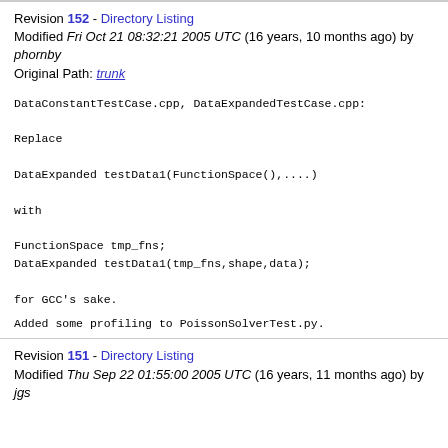Revision 152 - Directory Listing
Modified Fri Oct 21 08:32:21 2005 UTC (16 years, 10 months ago) by phornby
Original Path: trunk
DataConstantTestCase.cpp, DataExpandedTestCase.cpp:

Replace

DataExpanded testData1(FunctionSpace(),....) 

with

FunctionSpace tmp_fns;
DataExpanded testData1(tmp_fns,shape,data);

for GCC's sake.
Added some profiling to PoissonSolverTest.py.
Revision 151 - Directory Listing
Modified Thu Sep 22 01:55:00 2005 UTC (16 years, 11 months ago) by jgs